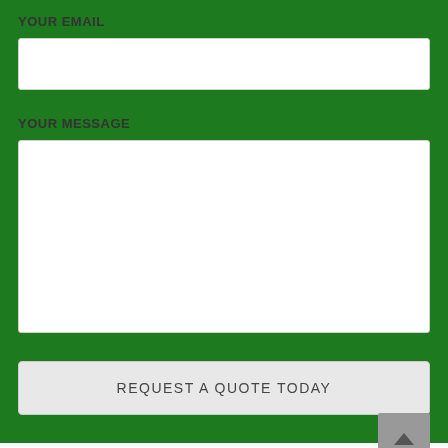YOUR EMAIL
[Figure (screenshot): Empty white input field for email]
YOUR MESSAGE
[Figure (screenshot): Empty white textarea for message]
REQUEST A QUOTE TODAY
PICK A GARDEN SERVICE